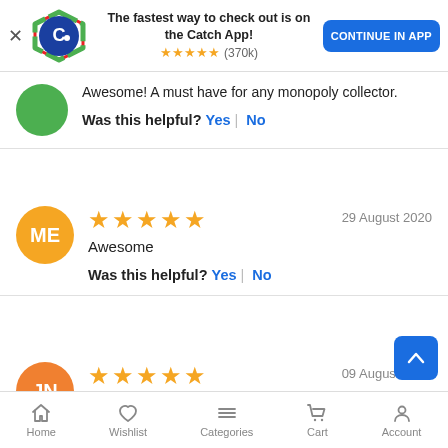[Figure (screenshot): Catch app banner with logo, text 'The fastest way to check out is on the Catch App!', star rating (370k), and 'CONTINUE IN APP' button]
Awesome! A must have for any monopoly collector.
Was this helpful? Yes | No
★★★★★  29 August 2020
Awesome
Was this helpful? Yes | No
★★★★★  09 August 2020
Great game
Home  Wishlist  Categories  Cart  Account